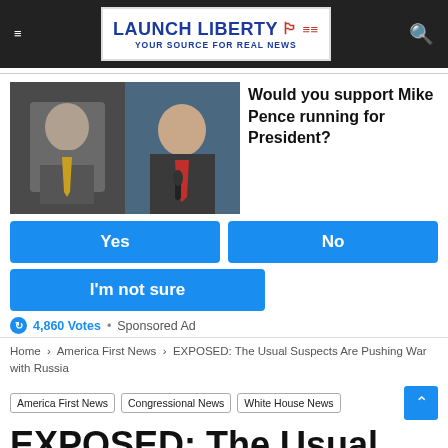LAUNCH LIBERTY — YOUR SOURCE FOR REAL NEWS
[Figure (photo): Photo collage of Mike Pence and Donald Trump side by side]
Would you support Mike Pence running for President?
Yes
No
I'm not sure
4,860 Votes · Sponsored Ad
Home › America First News › EXPOSED: The Usual Suspects Are Pushing War with Russia
America First News
Congressional News
White House News
EXPOSED: The Usual